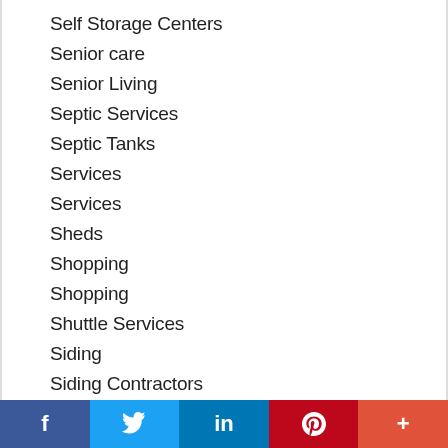Self Storage Centers
Senior care
Senior Living
Septic Services
Septic Tanks
Services
Services
Sheds
Shopping
Shopping
Shuttle Services
Siding
Siding Contractors
Siding Materials
f  [Twitter bird]  in  P  +